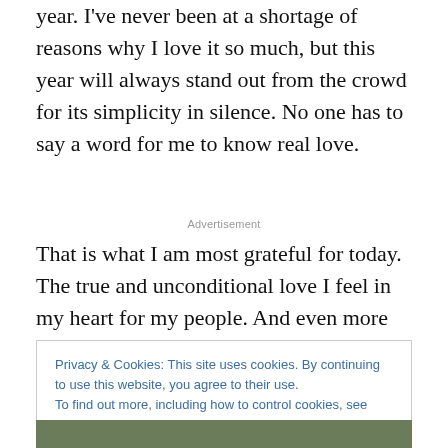year. I've never been at a shortage of reasons why I love it so much, but this year will always stand out from the crowd for its simplicity in silence. No one has to say a word for me to know real love.
Advertisement
That is what I am most grateful for today. The true and unconditional love I feel in my heart for my people. And even more so for the moments when no words are
Privacy & Cookies: This site uses cookies. By continuing to use this website, you agree to their use.
To find out more, including how to control cookies, see here: Cookie Policy
Close and accept
[Figure (photo): Bottom strip showing a partial photo, outdoor scene with people]